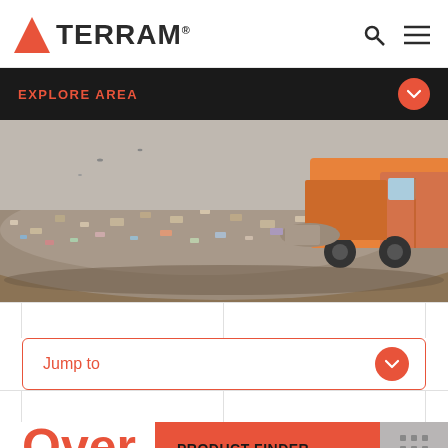[Figure (logo): TERRAM logo with red triangle and bold text]
EXPLORE AREA
[Figure (photo): Orange garbage truck dumping waste at a landfill site, large pile of mixed garbage and debris in background]
Jump to
Over
PRODUCT FINDER